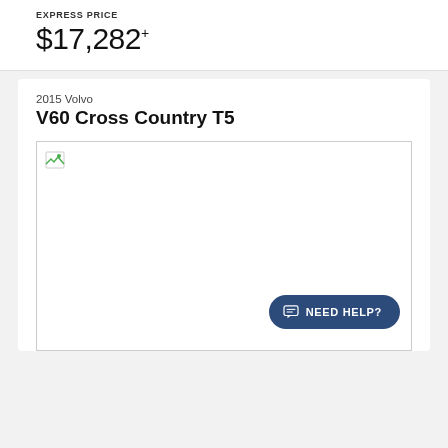EXPRESS PRICE
$17,282+
2015 Volvo
V60 Cross Country T5
[Figure (photo): Broken image placeholder for 2015 Volvo V60 Cross Country T5 vehicle photo]
NEED HELP?